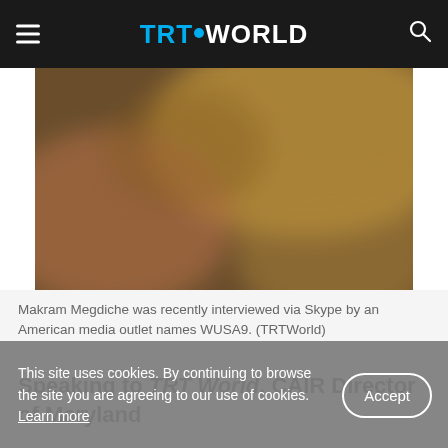TRT WORLD
[Figure (photo): Blurred/bokeh background photo, appearing to show an interior scene with warm golden and reddish tones.]
Makram Megdiche was recently interviewed via Skype by an American media outlet names WUSA9. (TRTWorld)
Speaking to TRT World, CAIR Director of Maryland
This site uses cookies. By continuing to browse the site you are agreeing to our use of cookies. Learn more